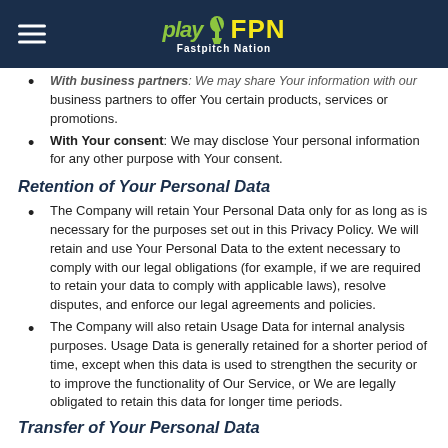play FPN Fastpitch Nation
With business partners: We may share Your information with our business partners to offer You certain products, services or promotions.
With Your consent: We may disclose Your personal information for any other purpose with Your consent.
Retention of Your Personal Data
The Company will retain Your Personal Data only for as long as is necessary for the purposes set out in this Privacy Policy. We will retain and use Your Personal Data to the extent necessary to comply with our legal obligations (for example, if we are required to retain your data to comply with applicable laws), resolve disputes, and enforce our legal agreements and policies.
The Company will also retain Usage Data for internal analysis purposes. Usage Data is generally retained for a shorter period of time, except when this data is used to strengthen the security or to improve the functionality of Our Service, or We are legally obligated to retain this data for longer time periods.
Transfer of Your Personal Data